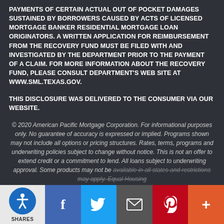PAYMENTS OF CERTAIN ACTUAL OUT OF POCKET DAMAGES SUSTAINED BY BORROWERS CAUSED BY ACTS OF LICENSED MORTGAGE BANKER RESIDENTIAL MORTGAGE LOAN ORIGINATORS. A WRITTEN APPLICATION FOR REIMBURSEMENT FROM THE RECOVERY FUND MUST BE FILED WITH AND INVESTIGATED BY THE DEPARTMENT PRIOR TO THE PAYMENT OF A CLAIM. FOR MORE INFORMATION ABOUT THE RECOVERY FUND, PLEASE CONSULT DEPARTMENT'S WEB SITE AT WWW.SML.TEXAS.GOV.
THIS DISCLOSURE WAS DELIVERED TO THE CONSUMER VIA OUR WEBSITE.
© 2020 American Pacific Mortgage Corporation. For informational purposes only. No guarantee of accuracy is expressed or implied. Programs shown may not include all options or pricing structures. Rates, terms, programs and underwriting policies subject to change without notice. This is not an offer to extend credit or a commitment to lend. All loans subject to underwriting approval. Some products may not be available in all states and restrictions may apply. Equal Housing
[Figure (infographic): Social sharing footer bar with accessibility icon, Facebook, Twitter, Email, Pinterest, and More (+) buttons]